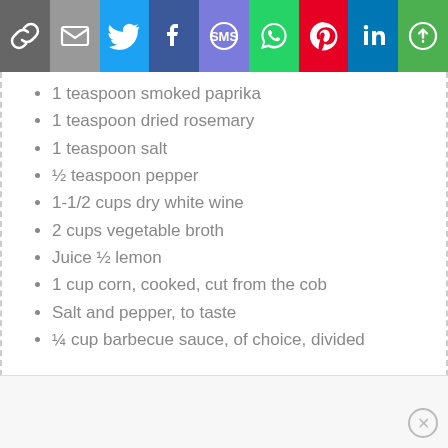[Figure (other): Social sharing toolbar with icons: link, email, Twitter, Facebook, SMS, WhatsApp, Pinterest, LinkedIn, More]
1 teaspoon smoked paprika
1 teaspoon dried rosemary
1 teaspoon salt
½ teaspoon pepper
1-1/2 cups dry white wine
2 cups vegetable broth
Juice ½ lemon
1 cup corn, cooked, cut from the cob
Salt and pepper, to taste
¼ cup barbecue sauce, of choice, divided